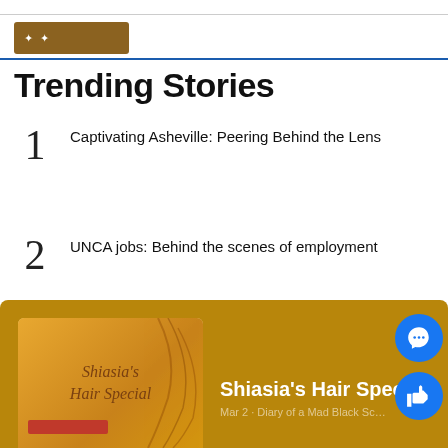Trending Stories
1 Captivating Asheville: Peering Behind the Lens
2 UNCA jobs: Behind the scenes of employment
3 Old Crow Medicine Show paints the French broad with a fresh new album: concert review
[Figure (other): Bottom card with golden/brown background showing Shiasia's Hair Special album art on the left and title text on the right, with Facebook chat and like buttons overlaid]